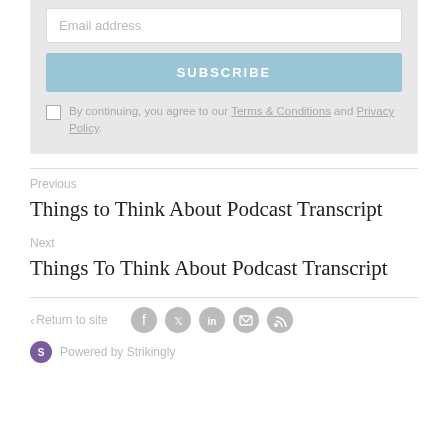Email address
SUBSCRIBE
By continuing, you agree to our Terms & Conditions and Privacy Policy.
Previous
Things to Think About Podcast Transcript
Next
Things To Think About Podcast Transcript
< Return to site
Powered by Strikingly